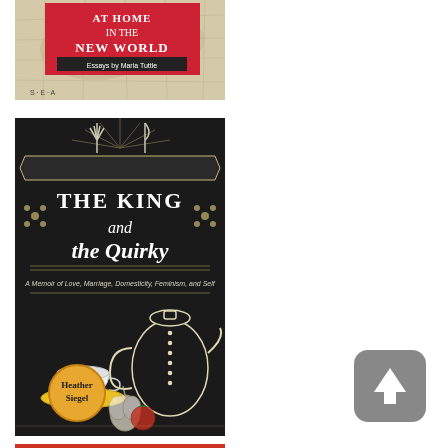[Figure (illustration): Book cover: 'At Home in the New World - Essays by Maria Tuttle'. Red and white design with map background, publisher SEA at bottom.]
[Figure (illustration): Book cover: 'The King and the Quirky - A Memoir of Love, Marriage, Domesticity, Feminism, and Self' by Heather Siegel. Dark/black chalkboard-style cover with illustrated kitchen items (knife, fork, teapot, coffee cup with heart latte art, garlic, tomato). Decorative banner with title.]
[Figure (illustration): Scroll-to-top UI button: rounded square gray button with white upward arrow icon.]
[Figure (illustration): Partial book cover at bottom edge: orange/red color, partially visible.]